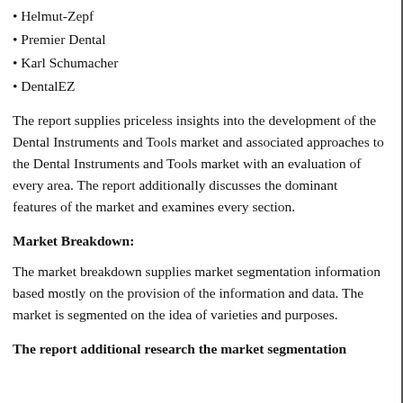Helmut-Zepf
Premier Dental
Karl Schumacher
DentalEZ
The report supplies priceless insights into the development of the Dental Instruments and Tools market and associated approaches to the Dental Instruments and Tools market with an evaluation of every area. The report additionally discusses the dominant features of the market and examines every section.
Market Breakdown:
The market breakdown supplies market segmentation information based mostly on the provision of the information and data. The market is segmented on the idea of varieties and purposes.
The report additional research the market segmentation